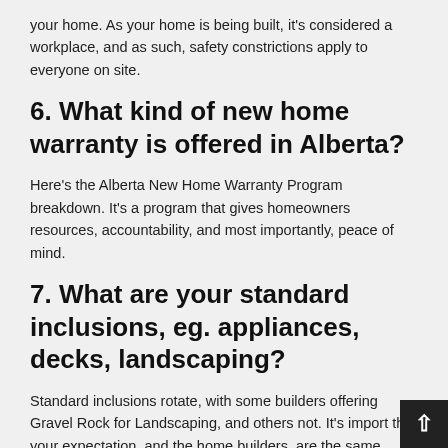your home. As your home is being built, it's considered a workplace, and as such, safety constrictions apply to everyone on site.
6. What kind of new home warranty is offered in Alberta?
Here's the Alberta New Home Warranty Program breakdown. It's a program that gives homeowners resources, accountability, and most importantly, peace of mind.
7. What are your standard inclusions, eg. appliances, decks, landscaping?
Standard inclusions rotate, with some builders offering Gravel Rock for Landscaping, and others not. It's import that your expectation, and the home builders, are the same